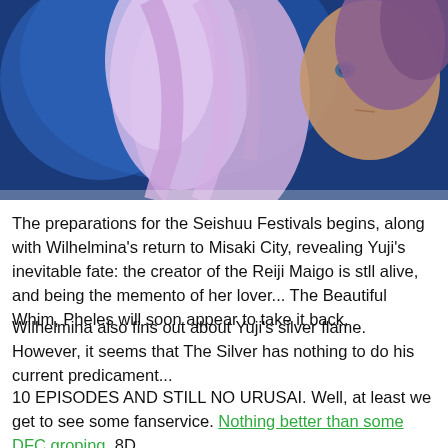[Figure (photo): Anime screenshot showing a character with light purple/lavender hair against a dark blue background, shown from the side/back, with another character partially visible on the right edge.]
The preparations for the Seishuu Festivals begins, along with Wilhelmina's return to Misaki City, revealing Yuji's inevitable fate: the creator of the Reiji Maigo is stll alive, and being the memento of her lover... The Beautiful Whim, Pheles will soon appear to take it back.
Wilhelmina also fins out about Yuji's silver flame. However, it seems that The Silver has nothing to do his current predicament...
10 EPISODES AND STILL NO URUSAI. Well, at least we get to see some fanservice. Nothing better than some DFC groping. 8D